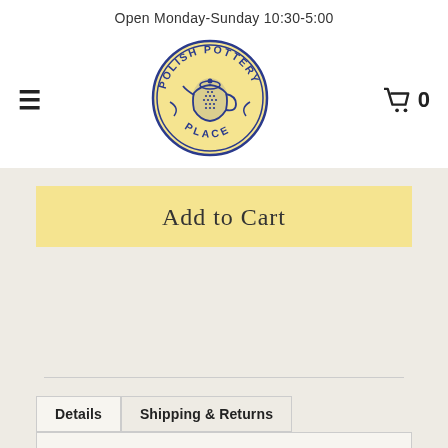Open Monday-Sunday 10:30-5:00
[Figure (logo): Polish Pottery Place circular logo with blue text and a decorated pottery pitcher illustration on a yellow circle background]
Add to Cart
Details   Shipping & Returns
Our Polish ornaments come in a variety of sizes and colors.